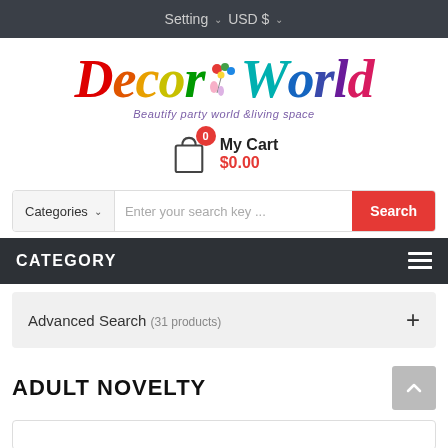Setting  USD $
[Figure (logo): Decor World logo with rainbow-colored italic text and balloon character, subtitle: Beautify party world & living space]
My Cart $0.00
Categories  Enter your search key ...  Search
CATEGORY
Advanced Search (31 products) +
ADULT NOVELTY